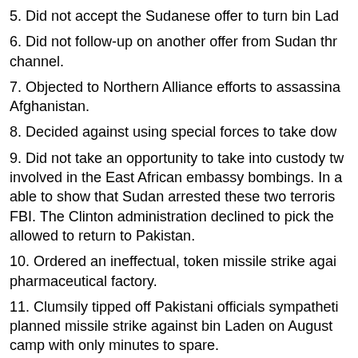5. Did not accept the Sudanese offer to turn bin Lad...
6. Did not follow-up on another offer from Sudan thr... channel.
7. Objected to Northern Alliance efforts to assassina... Afghanistan.
8. Decided against using special forces to take dow...
9. Did not take an opportunity to take into custody tw... involved in the East African embassy bombings. In a... able to show that Sudan arrested these two terroris... FBI. The Clinton administration declined to pick the... allowed to return to Pakistan.
10. Ordered an ineffectual, token missile strike agai... pharmaceutical factory.
11. Clumsily tipped off Pakistani officials sympatheti... planned missile strike against bin Laden on August ... camp with only minutes to spare.
12-14. Three times, Clinton hesitated or deferred in... against bin Laden in 1999 and 2000.